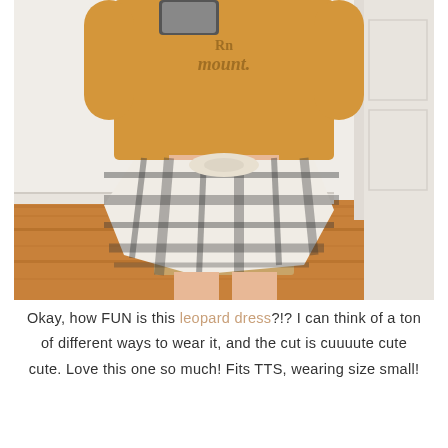[Figure (photo): Mirror selfie of a person wearing a yellow/mustard graphic t-shirt, a leopard print mini dress, and a black-and-white plaid flannel shirt tied around their waist. They are standing on a wood floor in front of a white wall and door.]
Okay, how FUN is this leopard dress?!? I can think of a ton of different ways to wear it, and the cut is cuuuute cute cute. Love this one so much! Fits TTS, wearing size small!